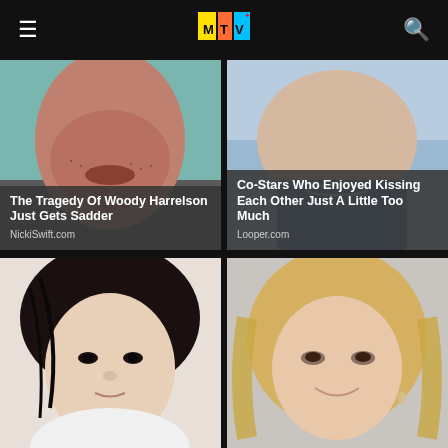MTV
[Figure (photo): Close-up photo of a man (Woody Harrelson) from nose down, showing stubble, against teal background]
The Tragedy Of Woody Harrelson Just Gets Sadder
NickiSwift.com
[Figure (photo): Close-up photo of a woman from chin/neck area wearing blue, showing necklace]
Co-Stars Who Enjoyed Kissing Each Other Just A Little Too Much
Looper.com
[Figure (photo): Portrait photo of a young Asian woman with dark hair pulled back, looking directly at camera]
[Figure (photo): Portrait photo of a blonde woman smiling, wearing earrings]